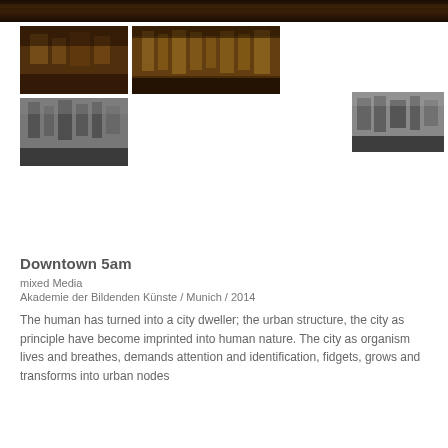[Figure (photo): Dark panoramic strip photo of urban/industrial scene at the top]
[Figure (photo): Warm amber-toned photo of urban model or cityscape structures, left]
[Figure (photo): Warm amber-toned photo of urban model or cityscape structures, right]
[Figure (photo): Black and white photo of dense urban structures, bottom left]
[Figure (photo): Black and white photo of urban structures, right side]
Downtown 5am
mixed Media
Akademie der Bildenden Künste / Munich / 2014
The human has turned into a city dweller; the urban structure, the city as principle have become imprinted into human nature. The city as organism lives and breathes, demands attention and identification, fidgets, grows and transforms into urban nodes